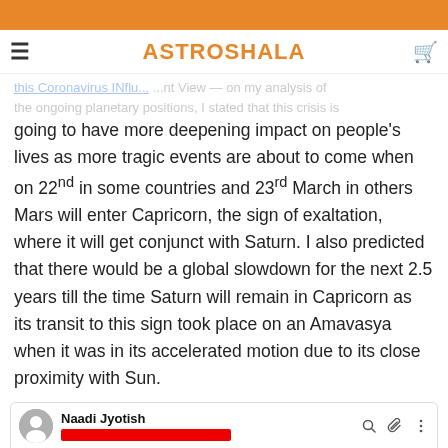ASTROSHALA
this Coronavirus INflu... my analysis of the ongoing planetary positions, I stated that this crisis is going to have more deepening impact on people's lives as more tragic events are about to come when on 22nd in some countries and 23rd March in others Mars will enter Capricorn, the sign of exaltation, where it will get conjunct with Saturn. I also predicted that there would be a global slowdown for the next 2.5 years till the time Saturn will remain in Capricorn as its transit to this sign took place on an Amavasya when it was in its accelerated motion due to its close proximity with Sun.
[Figure (screenshot): WhatsApp conversation screenshot showing Naadi Jyotish chat with redacted phone number, date badge 10/17/2019, and messages about chart discussion and Kripya Shanti Banaye Rakkhein about Jupiter, Saturn, Ketu axis]